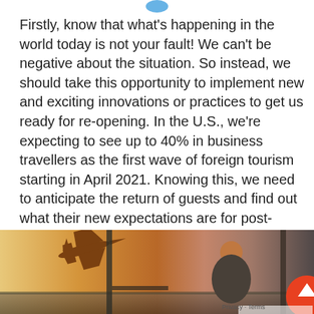[Figure (logo): Small blue icon/logo at top center]
Firstly, know that what's happening in the world today is not your fault! We can't be negative about the situation. So instead, we should take this opportunity to implement new and exciting innovations or practices to get us ready for re-opening. In the U.S., we're expecting to see up to 40% in business travellers as the first wave of foreign tourism starting in April 2021. Knowing this, we need to anticipate the return of guests and find out what their new expectations are for post-COVID travel.
[Figure (photo): Photo of an airplane silhouette taking off against a warm sunset background, with a man sitting and looking out a window on the right side]
Privacy · Terms